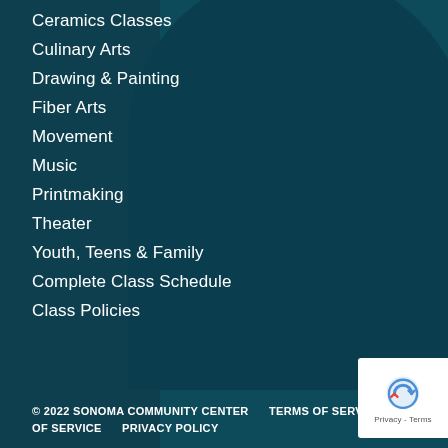Ceramics Classes
Culinary Arts
Drawing & Painting
Fiber Arts
Movement
Music
Printmaking
Theater
Youth, Teens & Family
Complete Class Schedule
Class Policies
© 2022 SONOMA COMMUNITY CENTER     TERMS OF SERVICE     PRIVACY POLICY